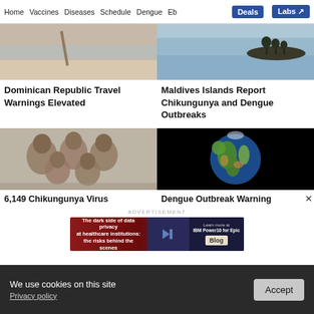Home  Vaccines  Diseases  Schedule  Dengue  Eb...  Deals  Labs
[Figure (photo): Beach scene with sand and water - Dominican Republic]
[Figure (photo): Ocean with small island silhouette - Maldives]
Dominican Republic Travel Warnings Elevated
Maldives Islands Report Chikungunya and Dengue Outbreaks
[Figure (photo): Black and white photo of African children smiling]
[Figure (photo): Globe/Earth image on black background]
6,149 Chikungunya Virus
Dengue Outbreak Warning
ADVERTISEMENT
[Figure (photo): Advertisement banner: The dark side of data privacy at healthcare institutions: the risks behind the scenes. Learn more at IBM Power10 for Epic. Blog.]
We use cookies on this site
Privacy policy
Accept